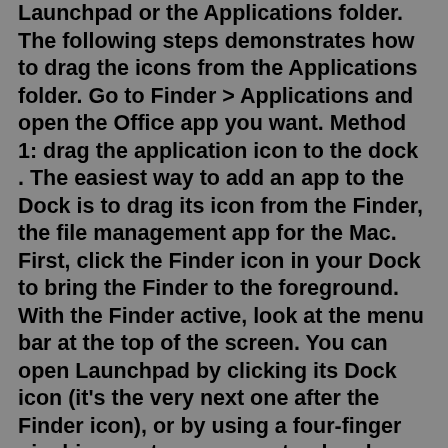Launchpad or the Applications folder. The following steps demonstrates how to drag the icons from the Applications folder. Go to Finder > Applications and open the Office app you want. Method 1: drag the application icon to the dock . The easiest way to add an app to the Dock is to drag its icon from the Finder, the file management app for the Mac. First, click the Finder icon in your Dock to bring the Finder to the foreground. With the Finder active, look at the menu bar at the top of the screen. You can open Launchpad by clicking its Dock icon (it's the very next one after the Finder icon), or by using a four-finger pinching gesture on your trackpad. Launchpad covers your entire main monitor, hiding everything else. Similarly, what is the shortcut to open Launchpad on Mac? Press. F4 . This is the default shortcut for Launchpad on ... The Dock is available in all versions of OS X, but Launchpad was introduced in Lion. Watch the video to learn how to use and customize the Dock and Launchpad. The Dock. The Dock houses shortcuts to your favorite apps, files, and folders, as well as the